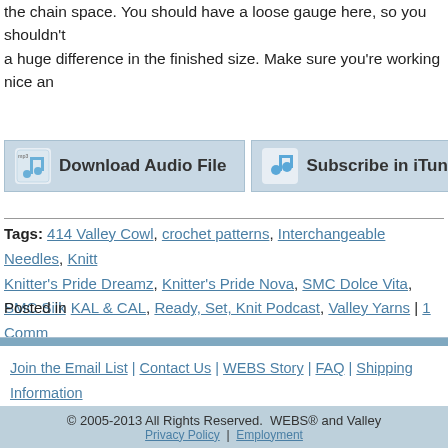the chain space. You should have a loose gauge here, so you shouldn't a huge difference in the finished size. Make sure you're working nice an
[Figure (screenshot): Download Audio File button (blue icon with music note), Subscribe in iTunes button (blue music note icon), and partial RSS button]
Tags: 414 Valley Cowl, crochet patterns, Interchangeable Needles, Knitt Knitter's Pride Dreamz, Knitter's Pride Nova, SMC Dolce Vita, SMC Silk
Posted in KAL & CAL, Ready, Set, Knit Podcast, Valley Yarns | 1 Comm
Join the Email List | Contact Us | WEBS Story | FAQ | Shipping Information | Podcasts
© 2005-2013 All Rights Reserved. WEBS® and Valley